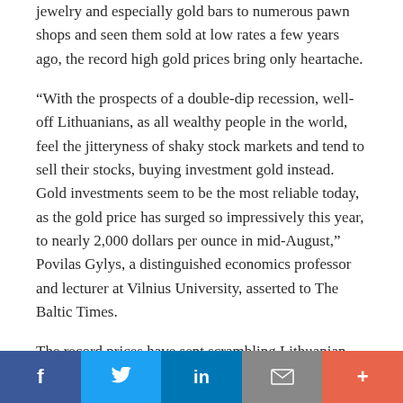jewelry and especially gold bars to numerous pawn shops and seen them sold at low rates a few years ago, the record high gold prices bring only heartache.
“With the prospects of a double-dip recession, well-off Lithuanians, as all wealthy people in the world, feel the jitteryness of shaky stock markets and tend to sell their stocks, buying investment gold instead. Gold investments seem to be the most reliable today, as the gold price has surged so impressively this year, to nearly 2,000 dollars per ounce in mid-August,” Povilas Gylys, a distinguished economics professor and lecturer at Vilnius University, asserted to The Baltic Times.
The record prices have sent scrambling Lithuanian gold jewelry sellers who, responding to the ever rising prices, have to change price tags nearly every day. “I cannot say
f    in  ✉  +